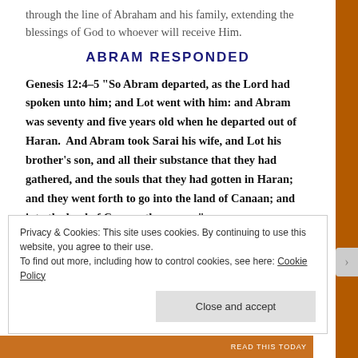through the line of Abraham and his family, extending the blessings of God to whoever will receive Him.
ABRAM RESPONDED
Genesis 12:4-5 “So Abram departed, as the Lord had spoken unto him; and Lot went with him: and Abram was seventy and five years old when he departed out of Haran.  And Abram took Sarai his wife, and Lot his brother’s son, and all their substance that they had gathered, and the souls that they had gotten in Haran; and they went forth to go into the land of Canaan; and into the land of Canaan they came.”
Privacy & Cookies: This site uses cookies. By continuing to use this website, you agree to their use. To find out more, including how to control cookies, see here: Cookie Policy